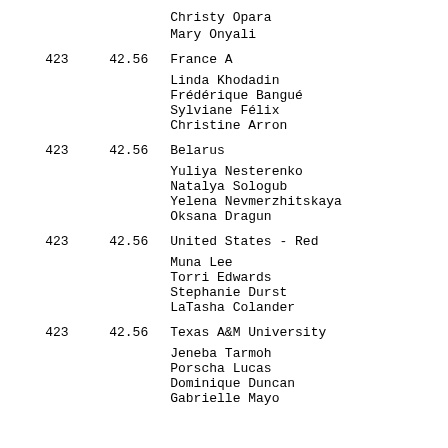| Rank | Time | Team/Athletes |
| --- | --- | --- |
|  |  | Christy Opara |
|  |  | Mary Onyali |
| 423 | 42.56 | France A |
|  |  | Linda Khodadin |
|  |  | Frédérique Bangué |
|  |  | Sylviane Félix |
|  |  | Christine Arron |
| 423 | 42.56 | Belarus |
|  |  | Yuliya Nesterenko |
|  |  | Natalya Sologub |
|  |  | Yelena Nevmerzhitskaya |
|  |  | Oksana Dragun |
| 423 | 42.56 | United States - Red |
|  |  | Muna Lee |
|  |  | Torri Edwards |
|  |  | Stephanie Durst |
|  |  | LaTasha Colander |
| 423 | 42.56 | Texas A&M University |
|  |  | Jeneba Tarmoh |
|  |  | Porscha Lucas |
|  |  | Dominique Duncan |
|  |  | Gabrielle Mayo |